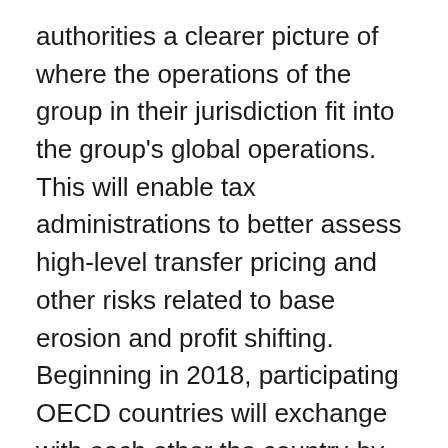authorities a clearer picture of where the operations of the group in their jurisdiction fit into the group's global operations. This will enable tax administrations to better assess high-level transfer pricing and other risks related to base erosion and profit shifting. Beginning in 2018, participating OECD countries will exchange with each other the country-by-country reports filed in their respective jurisdictions. The CRA is ready to start the country-by-country report exchange in 2018.

In early 2017, the CRA published the new country-by-country report forms and in